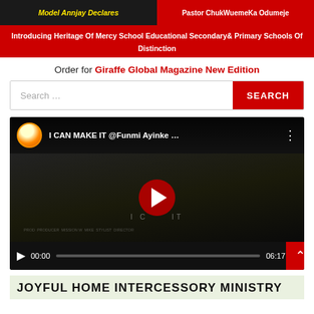[Figure (screenshot): Top banner with two sections: left dark background with yellow italic bold text 'Model Annjay Declares', right red background with white bold text 'Pastor ChukWuemeKa Odumeje']
[Figure (screenshot): Red banner reading 'Introducing Heritage Of Mercy School Educational Secondary& Primary Schools Of Distinction' in white bold text]
Order for Giraffe Global Magazine New Edition
[Figure (screenshot): Search bar with placeholder text 'Search ...' and a red SEARCH button]
[Figure (screenshot): YouTube video embed showing 'I CAN MAKE IT @Funmi Ayinke ...' with a dark video thumbnail, YouTube play button, and video controls showing 00:00 / 06:17]
JOYFUL HOME INTERCESSORY MINISTRY